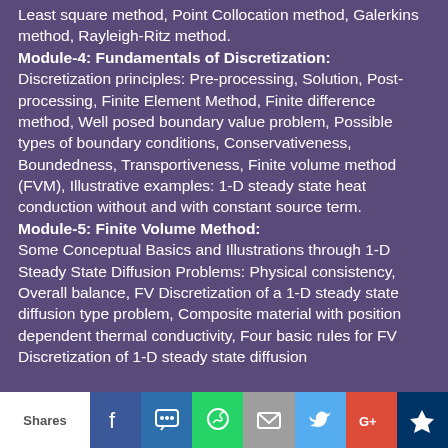Least square method, Point Collocation method, Galerkins method, Rayleigh-Ritz method.
Module-4: Fundamentals of Discretization:
Discretization principles: Pre-processing, Solution, Post-processing, Finite Element Method, Finite difference method, Well posed boundary value problem, Possible types of boundary conditions, Conservativeness, Boundedness, Transportiveness, Finite volume method (FVM), Illustrative examples: 1-D steady state heat conduction without and with constant source term.
Module-5: Finite Volume Method:
Some Conceptual Basics and Illustrations through 1-D Steady State Diffusion Problems: Physical consistency, Overall balance, FV Discretization of a 1-D steady state diffusion type problem, Composite material with position dependent thermal conductivity, Four basic rules for FV Discretization of 1-D steady state diffusion
Shares | Facebook | SMS | WhatsApp | Email | Twitter | G+ | Crown